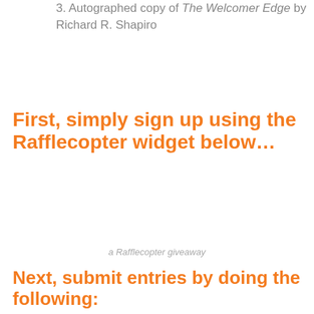3. Autographed copy of The Welcomer Edge by Richard R. Shapiro
First, simply sign up using the Rafflecopter widget below…
a Rafflecopter giveaway
Next, submit entries by doing the following:
» Like Customers That Stick On Facebook | 3 Entries
» Follow @adamtoporek On Twitter | 2 Entries